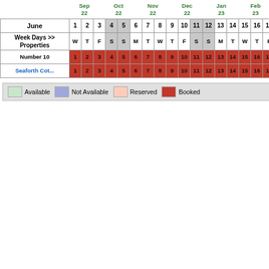| Sep 22 | Oct 22 | Nov 22 | Dec 22 | Jan 23 | Feb 23 | Mar 23 | Apr 23 | May 23 | Jun 23 | Jul 23 | Aug 23 | Sep 23 | Oct 23 | Nov 23 |
| --- | --- | --- | --- | --- | --- | --- | --- | --- | --- | --- | --- | --- | --- | --- |
| June | 1 | 2 | 3 | 4 | 5 | 6 | 7 | 8 | 9 | 10 | 11 | 12 | 13 | 14 | 15 | 16 | 17 | 18 | 19 | 20 | 21 | 22 | 23 |
| --- | --- | --- | --- | --- | --- | --- | --- | --- | --- | --- | --- | --- | --- | --- | --- | --- | --- | --- | --- | --- | --- | --- | --- |
| Week Days >> Properties | W | T | F | S | S | M | T | W | T | F | S | S | M | T | W | T | F | S | S | M | T | W | T |
| Number 10 | 1 | 2 | 3 | 4 | 5 | 6 | 7 | 8 | 9 | 10 | 11 | 12 | 13 | 14 | 15 | 16 | 17 | 18 | 19 | 20 | 21 | 22 | 23 |
| Seaforth Cot... | 1 | 2 | 3 | 4 | 5 | 6 | 7 | 8 | 9 | 10 | 11 | 12 | 13 | 14 | 15 | 16 | 17 | 18 | 19 | 20 | 21 | 22 | 23 |
Available | Not Available | Reserved | Booked